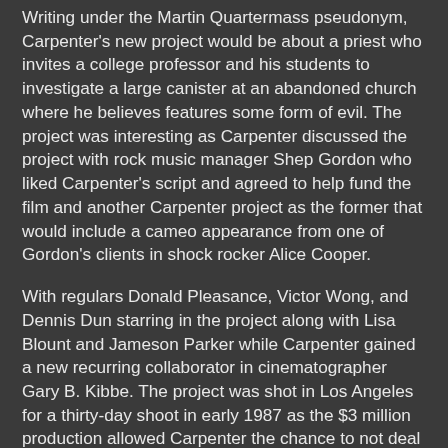Writing under the Martin Quartermass pseudonym, Carpenter's new project would be about a priest who invites a college professor and his students to investigate a large canister at an abandoned church where he believes features some form of evil. The project was interesting as Carpenter discussed the project with rock music manager Shep Gordon who liked Carpenter's script and agreed to help fund the film and another Carpenter project as the former that would include a cameo appearance from one of Gordon's clients in shock rocker Alice Cooper.
With regulars Donald Pleasance, Victor Wong, and Dennis Dun starring in the project along with Lisa Blount and Jameson Parker while Carpenter gained a new recurring collaborator in cinematographer Gary B. Kibbe. The project was shot in Los Angeles for a thirty-day shoot in early 1987 as the $3 million production allowed Carpenter the chance to not deal with the headaches that involved big-budget productions. While the film would require visual effects that Carpenter would take care of for post-production, Carpenter wanted to explore the ideas of evil and to see if Satan existed while also wanting to bring some humor into the film